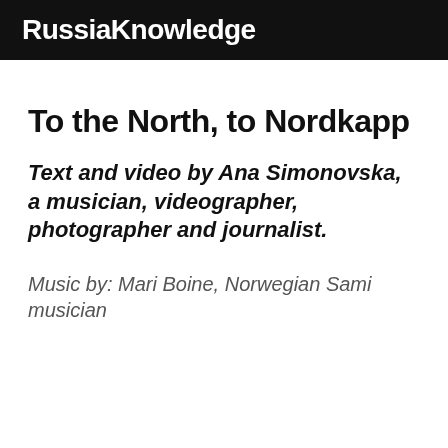RussiaKnowledge
To the North, to Nordkapp
Text and video by Ana Simonovska, a musician, videographer, photographer and journalist.
Music by: Mari Boine, Norwegian Sami musician